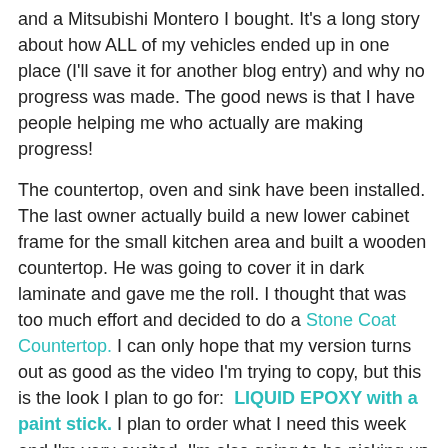and a Mitsubishi Montero I bought. It's a long story about how ALL of my vehicles ended up in one place (I'll save it for another blog entry) and why no progress was made. The good news is that I have people helping me who actually are making progress!
The countertop, oven and sink have been installed. The last owner actually build a new lower cabinet frame for the small kitchen area and built a wooden countertop. He was going to cover it in dark laminate and gave me the roll. I thought that was too much effort and decided to do a Stone Coat Countertop. I can only hope that my version turns out as good as the video I'm trying to copy, but this is the look I plan to go for: LIQUID EPOXY with a paint stick. I plan to order what I need this week and I'm very excited. I'm also going to be picking up the flooring, which will be a vinyl plank in a light grey.